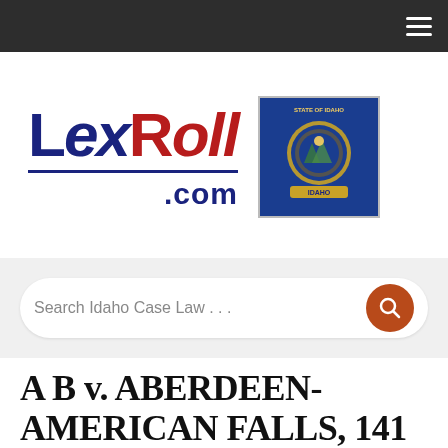Navigation bar with hamburger menu
[Figure (logo): LexRoll.com logo with navy blue LEX text and red ROLL text, underlined, with .COM beneath. Idaho state flag image to the right.]
Search Idaho Case Law . . .
A B v. ABERDEEN-AMERICAN FALLS, 141 Idaho 746 (2005)